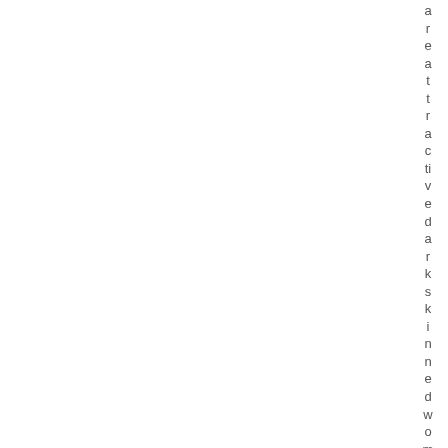areattractived dark skinned women i l